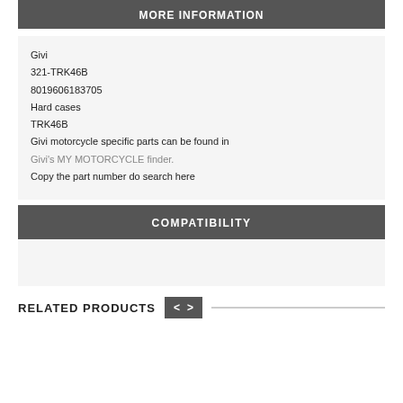MORE INFORMATION
Givi
321-TRK46B
8019606183705
Hard cases
TRK46B
Givi motorcycle specific parts can be found in Givi's MY MOTORCYCLE finder.
Copy the part number do search here
COMPATIBILITY
RELATED PRODUCTS